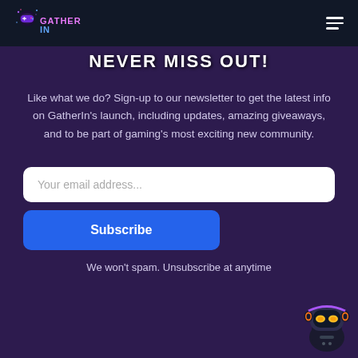[Figure (logo): GatherIn gaming logo with controller icon and colorful stylized text]
NEVER MISS OUT!
Like what we do? Sign-up to our newsletter to get the latest info on GatherIn's launch, including updates, amazing giveaways, and to be part of gaming's most exciting new community.
Your email address...
Subscribe
We won't spam. Unsubscribe at anytime
[Figure (illustration): Robot/gamer mascot with headphones and glowing yellow eyes]